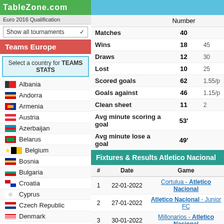TableZone.com
Euro 2016 Qualification
Show all tournaments
Teams Europe
Select a country for TEAMS STATS
Albania
Andorra
Armenia
Austria
Azerbaijan
Belarus
Belgium
Bosnia
Bulgaria
Croatia
Cyprus
Czech Republic
Denmark
England
Estonia
Finland
|  | Number |  |
| --- | --- | --- |
| Matches | 40 |  |
| Wins | 18 | 45 |
| Draws | 12 | 30 |
| Lost | 10 | 25 |
| Scored goals | 62 | 1.55/p |
| Goals against | 46 | 1.15/p |
| Clean sheet | 11 | 2 |
| Avg minute scoring a goal | 53' |  |
| Avg minute lose a goal | 49' |  |
Fixtures & Results Atletico Nacional
| # | Date | Game |
| --- | --- | --- |
| 1 | 22-01-2022 | Cortulua - Atletico Nacional |
| 2 | 27-01-2022 | Atletico Nacional - Junior FC |
| 3 | 30-01-2022 | Millonarios - Atletico Nacional |
| 4 | 04-02-2022 | Atletico Nacional - Tolima |
| 5 | 07-02-2022 | Deportivo Pasto - Atletico Nacional |
| 6 | 12-02-2022 | Atletico Nacional - Alianza Petrolera |
| 7 | 16-02-2022 | Envigado - Atletico Nacional |
| 8 | 20-02-2022 | Atletico Nacional - Union Magdalena |
| 9 | 25-02-2022 | Olimpia - Atletico Nacional |
| 10 | 27-02-2022 | Bucaramanga - Atletico Nacional |